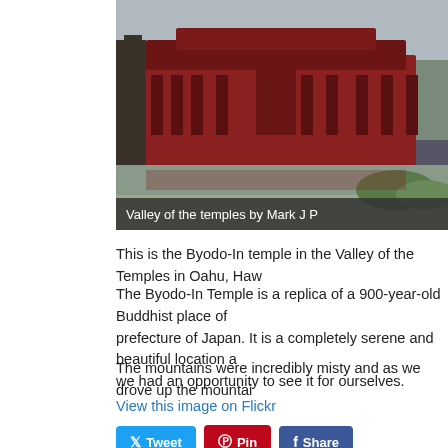[Figure (photo): Photo of the Byodo-In Temple in the Valley of the Temples, Oahu, Hawaii. A red Japanese-style Buddhist temple is visible among trees with a reflective pond in the foreground and misty mountains behind.]
Valley of the temples by Mark J P
This is the Byodo-In temple in the Valley of the Temples in Oahu, Haw
The Byodo-In Temple is a replica of a 900-year-old Buddhist place of worship in the Kyoto prefecture of Japan. It is a completely serene and beautiful location and we were so glad we had an opportunity to see it for ourselves.
The mountains were incredibly misty and as we drove up the mountain the weather completely changed. Back on the other side of the island the weather was warm and sunny.
View this image on Flickr
[Figure (other): Social sharing buttons: Tweet, Pin, Share]